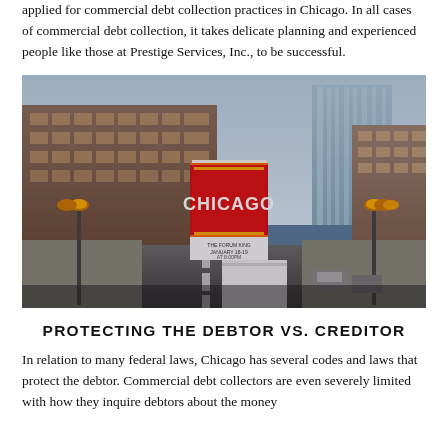applied for commercial debt collection practices in Chicago. In all cases of commercial debt collection, it takes delicate planning and experienced people like those at Prestige Services, Inc., to be successful.
[Figure (photo): Street-level photo of the Chicago Theatre marquee on State Street, with tall buildings and city traffic visible on both sides.]
PROTECTING THE DEBTOR VS. CREDITOR
In relation to many federal laws, Chicago has several codes and laws that protect the debtor. Commercial debt collectors are even severely limited with how they inquire debtors about the money